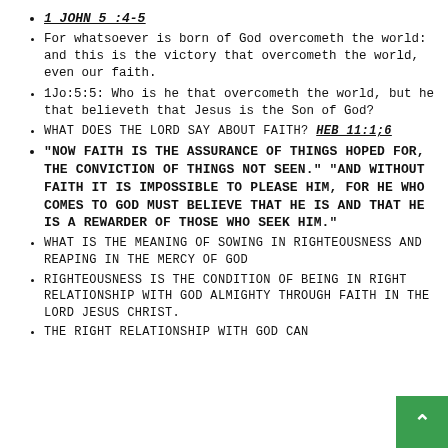1 JOHN 5 :4-5
For whatsoever is born of God overcometh the world: and this is the victory that overcometh the world, even our faith.
1Jo:5:5: Who is he that overcometh the world, but he that believeth that Jesus is the Son of God?
WHAT DOES THE LORD SAY ABOUT FAITH? HEB 11:1;6
"NOW FAITH IS THE ASSURANCE OF THINGS HOPED FOR, THE CONVICTION OF THINGS NOT SEEN." "AND WITHOUT FAITH IT IS IMPOSSIBLE TO PLEASE HIM, FOR HE WHO COMES TO GOD MUST BELIEVE THAT HE IS AND THAT HE IS A REWARDER OF THOSE WHO SEEK HIM."
WHAT IS THE MEANING OF SOWING IN RIGHTEOUSNESS AND REAPING IN THE MERCY OF GOD
RIGHTEOUSNESS IS THE CONDITION OF BEING IN RIGHT RELATIONSHIP WITH GOD ALMIGHTY THROUGH FAITH IN THE LORD JESUS CHRIST.
THE RIGHT RELATIONSHIP WITH GOD CAN